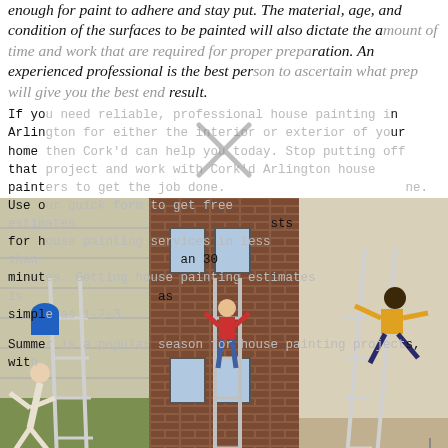Concrete may require power washing to get them clean enough for paint to adhere and stay put. The material, age, and condition of the surfaces to be painted will also dictate the amount of time and work that are required for proper preparation. An experienced professional is the best person to ascertain what prep will give you the best end result.
If you need reliable, professional house painting in Arlington for either the interior or exterior of your home then Cork'd can help you today. Stop putting off that project and work with Cork'd Arlington house painters to get the job done. Use our quick form to get free estimates for house painting services in less than 30 minutes. Getting house painting estimates is as simple as 1-2-3.
Summer is a popular season for house painting projects, with
[Figure (photo): Three photos side-by-side showing people falling off ladders against houses. Left: person falling off ladder against siding. Middle: person climbing ladder on brick house. Right: person falling near ladder indoors.]
This spray gun set includes everything you need to make a professional painting including furniture. It uses variable air pressure control and a two-stage turbine to produce superior painting results. It has a 20 foot hose, a professional grade metal cup, a 1 1/2 quart plastic cup and can spray liquids in one of three different spray patterns. It's a quality sprayer powerful enough for